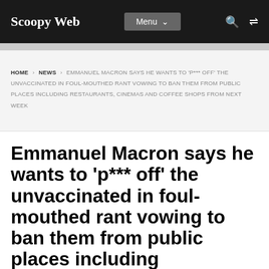Scoopy Web | Menu | Search | Shuffle
HOME › NEWS › EMMANUEL MACRON SAYS HE WANTS TO 'P*** OFF' THE UNVACCINATED IN FOUL-MOUTHED RANT VOWING TO BAN THEM FROM PUBLIC PLACES INCLUDING RESTAURANTS, CINEMAS AND COFFEE SHOPS FROM NEXT WEEK
Emmanuel Macron says he wants to 'p*** off' the unvaccinated in foul-mouthed rant vowing to ban them from public places including restaurants, cinemas and coffee shops